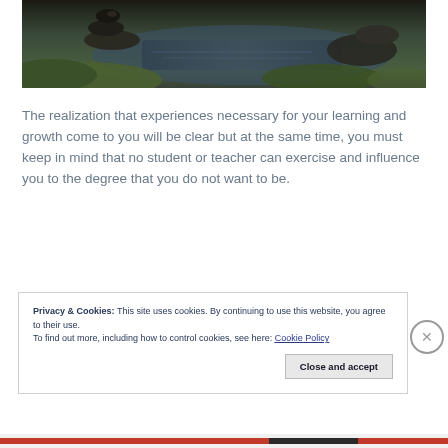[Figure (photo): Stacked rocks on moss near water — a nature/mindfulness photograph]
The realization that experiences necessary for your learning and growth come to you will be clear but at the same time, you must keep in mind that no student or teacher can exercise and influence you to the degree that you do not want to be.
Privacy & Cookies: This site uses cookies. By continuing to use this website, you agree to their use.
To find out more, including how to control cookies, see here: Cookie Policy
Close and accept